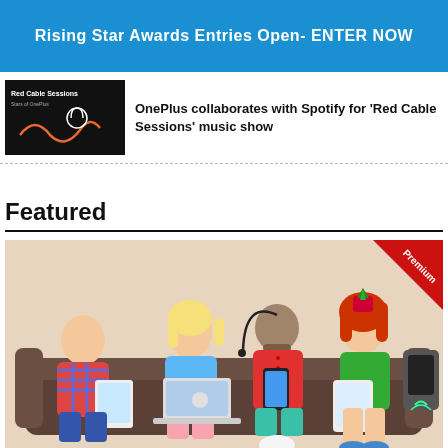Rising Star Awards Entries Open- ENTER NOW
OnePlus collaborates with Spotify for 'Red Cable Sessions' music show
Featured
[Figure (illustration): Illustration of several people sitting on a couch using various devices (tablet, laptop, smartphone) with a 'Premium' red badge in the top-right corner.]